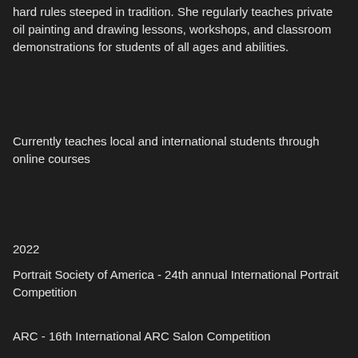hard rules steeped in tradition. She regularly teaches private oil painting and drawing lessons, workshops, and classroom demonstrations for students of all ages and abilities.
Currently teaches local and international students through online courses
2022
Portrait Society of America - 24th annual International Portrait Competition
ARC - 16th International ARC Salon Competition